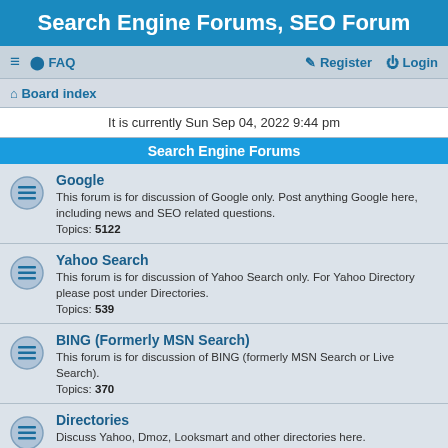Search Engine Forums, SEO Forum
≡  FAQ    Register  Login
Board index
It is currently Sun Sep 04, 2022 9:44 pm
Search Engine Forums
Google
This forum is for discussion of Google only. Post anything Google here, including news and SEO related questions.
Topics: 5122
Yahoo Search
This forum is for discussion of Yahoo Search only. For Yahoo Directory please post under Directories.
Topics: 539
BING (Formerly MSN Search)
This forum is for discussion of BING (formerly MSN Search or Live Search).
Topics: 370
Directories
Discuss Yahoo, Dmoz, Looksmart and other directories here.
Topics: 710
Cost-Per-Click Engines
For discussion of cost-per-click (CPC) engines, such as Yahoo! and Google Adwords.
Topics: 360